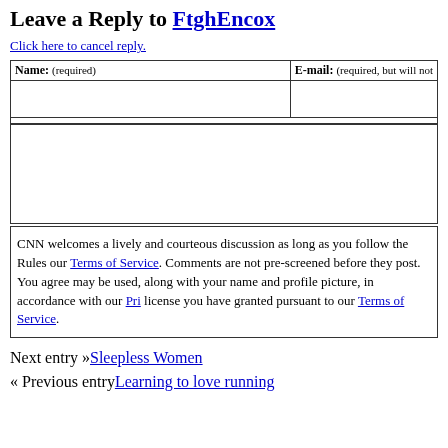Leave a Reply to FtghEncox
Click here to cancel reply.
| Name: (required) | E-mail: (required, but will not… |
| --- | --- |
|  |  |
CNN welcomes a lively and courteous discussion as long as you follow the Rules our Terms of Service. Comments are not pre-screened before they post. You agree may be used, along with your name and profile picture, in accordance with our Pri license you have granted pursuant to our Terms of Service.
Next entry »Sleepless Women
« Previous entryLearning to love running